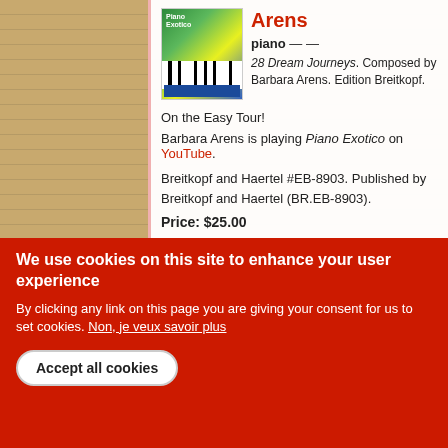Arens
piano — —
28 Dream Journeys. Composed by Barbara Arens. Edition Breitkopf.
On the Easy Tour!
Barbara Arens is playing Piano Exotico on YouTube.
Breitkopf and Haertel #EB-8903. Published by Breitkopf and Haertel (BR.EB-8903).
Price: $25.00
Calendar Suite - December Dawn — Barbara A. Eberhart
Flute Quartet for 4 C-Flutes — Score,Set
We use cookies on this site to enhance your user experience
By clicking any link on this page you are giving your consent for us to set cookies. Non, je veux savoir plus
Accept all cookies